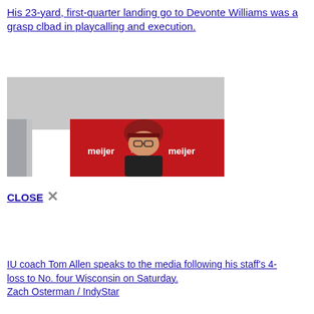His 23-yard, first-quarter landing go to Devonte Williams was a grasp clbad in playcalling and execution.
[Figure (photo): A person in a dark jacket and red cap standing in front of a red Meijer branded backdrop, speaking at a press conference]
CLOSE ✕
IU coach Tom Allen speaks to the media following his staff's 4- loss to No. four Wisconsin on Saturday.
Zach Osterman / IndyStar